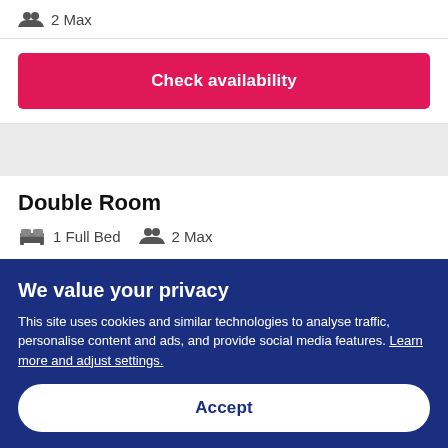2 Max
Check availability
Double Room
1 Full Bed   2 Max
We value your privacy
This site uses cookies and similar technologies to analyse traffic, personalise content and ads, and provide social media features. Learn more and adjust settings.
Accept